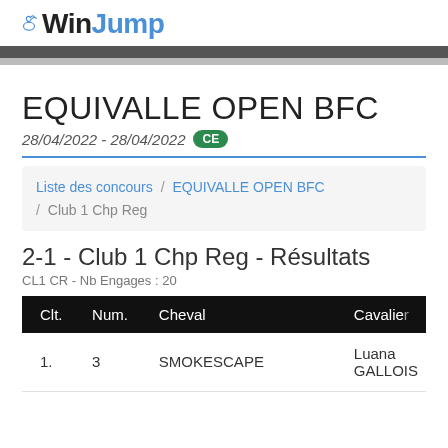WinJump
EQUIVALLE OPEN BFC
28/04/2022 - 28/04/2022 CE
Liste des concours / EQUIVALLE OPEN BFC / Club 1 Chp Reg
2-1 - Club 1 Chp Reg - Résultats
CL1 CR - Nb Engages : 20
| Clt. | Num. | Cheval | Cavalier |
| --- | --- | --- | --- |
| 1. | 3 | SMOKESCAPE | Luana GALLOIS |